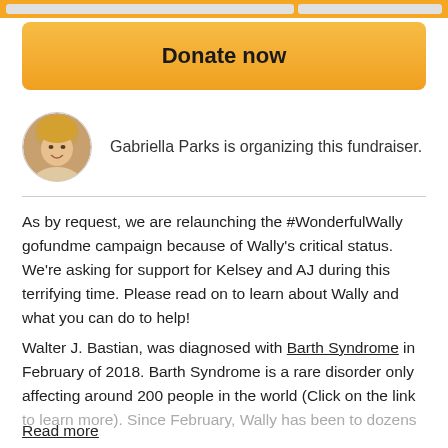[Figure (other): Top navigation bar with two gray pill-shaped elements on orange background]
Donate now
Gabriella Parks is organizing this fundraiser.
As by request, we are relaunching the #WonderfulWally gofundme campaign because of Wally’s critical status. We’re asking for support for Kelsey and AJ during this terrifying time. Please read on to learn about Wally and what you can do to help!
Walter J. Bastian, was diagnosed with Barth Syndrome in February of 2018. Barth Syndrome is a rare disorder only affecting around 200 people in the world (Click on the link to learn more). Since February, Wally has been to dozens
Read more